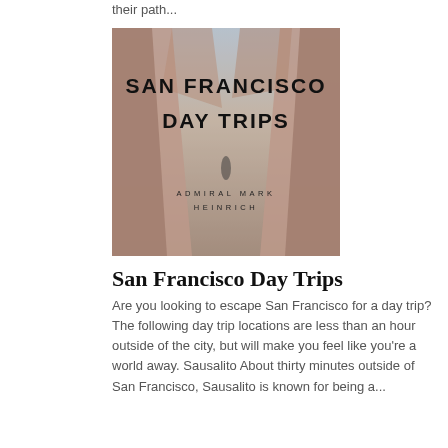their path...
[Figure (illustration): Book cover for 'San Francisco Day Trips' by Admiral Mark Heinrich, showing a canyon landscape background with bold text overlay]
San Francisco Day Trips
Are you looking to escape San Francisco for a day trip? The following day trip locations are less than an hour outside of the city, but will make you feel like you're a world away. Sausalito About thirty minutes outside of San Francisco, Sausalito is known for being a...